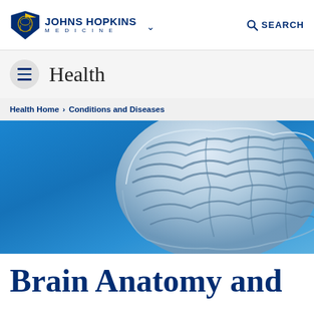Johns Hopkins Medicine — SEARCH
Health
Health Home > Conditions and Diseases
[Figure (illustration): Detailed blue-toned illustration of a human brain on a bright blue gradient background, showing cerebral cortex folds and gyri]
Brain Anatomy and